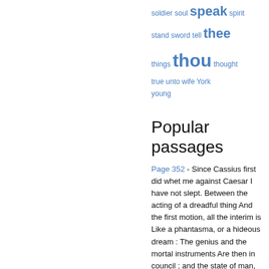soldier soul speak spirit stand sword tell thee things thou thought true unto wife York young
Popular passages
Page 352 - Since Cassius first did whet me against Caesar I have not slept. Between the acting of a dreadful thing And the first motion, all the interim is Like a phantasma, or a hideous dream : The genius and the mortal instruments Are then in council ; and the state of man, Like to